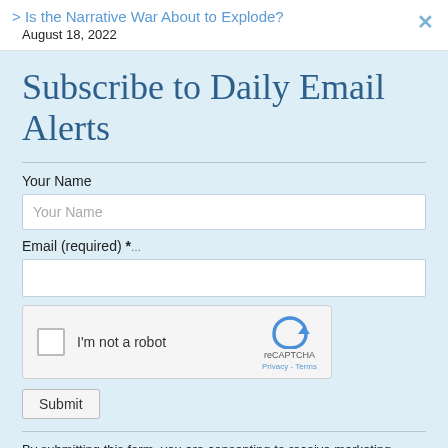> Is the Narrative War About to Explode?
August 18, 2022
Subscribe to Daily Email Alerts
Your Name
Email (required) *
[Figure (other): reCAPTCHA widget with checkbox labeled 'I'm not a robot', reCAPTCHA logo, Privacy and Terms links]
Submit
By submitting this form, you are consenting to receive marketing emails from: News With Views, P.O. Box 990, Spring Branch, TX, 78070-9998,